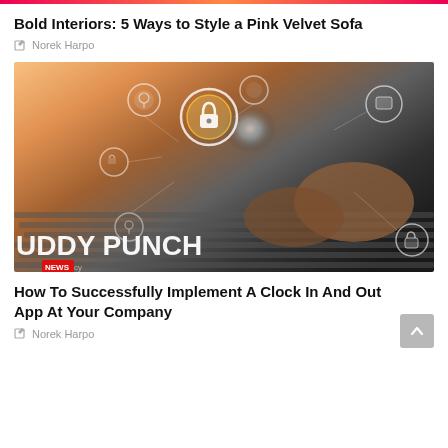Bold Interiors: 5 Ways to Style a Pink Velvet Sofa
Norek Harpo
[Figure (photo): Hands typing on keyboard with glowing security lock icons and network overlay. Text overlay reads 'UDDY PUNCH' with 'NEWS' badge and 'privacy policy' text.]
How To Successfully Implement A Clock In And Out App At Your Company
Norek Harpo